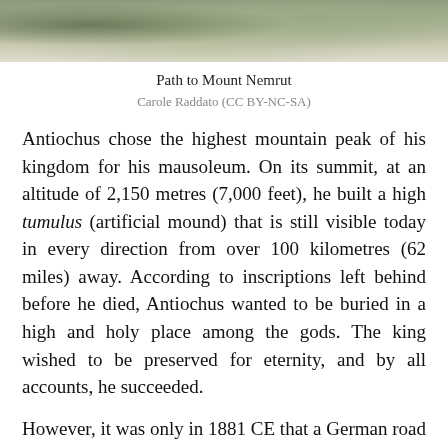[Figure (photo): Partial view of a rocky mountain path, likely Mount Nemrut, with stones and sparse vegetation visible at the top of the image.]
Path to Mount Nemrut
Carole Raddato (CC BY-NC-SA)
Antiochus chose the highest mountain peak of his kingdom for his mausoleum. On its summit, at an altitude of 2,150 metres (7,000 feet), he built a high tumulus (artificial mound) that is still visible today in every direction from over 100 kilometres (62 miles) away. According to inscriptions left behind before he died, Antiochus wanted to be buried in a high and holy place among the gods. The king wished to be preserved for eternity, and by all accounts, he succeeded.
However, it was only in 1881 CE that a German road engineer reported the tomb's discovery. Since then, the site has been excavated by many native